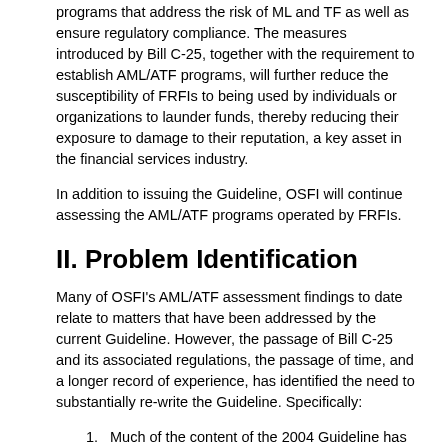programs that address the risk of ML and TF as well as ensure regulatory compliance. The measures introduced by Bill C-25, together with the requirement to establish AML/ATF programs, will further reduce the susceptibility of FRFIs to being used by individuals or organizations to launder funds, thereby reducing their exposure to damage to their reputation, a key asset in the financial services industry.
In addition to issuing the Guideline, OSFI will continue assessing the AML/ATF programs operated by FRFIs.
II. Problem Identification
Many of OSFI's AML/ATF assessment findings to date relate to matters that have been addressed by the current Guideline. However, the passage of Bill C-25 and its associated regulations, the passage of time, and a longer record of experience, has identified the need to substantially re-write the Guideline. Specifically:
Much of the content of the 2004 Guideline has now been codified into compliance requirements with the passage of Bill C-25.
The introduction of a risk based approach to some control measures has identified the need for OSFI to identify effective